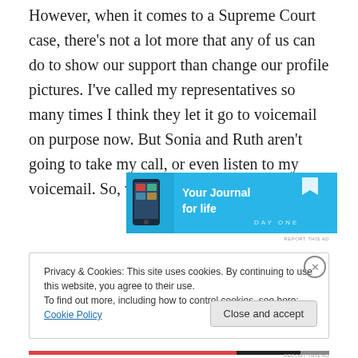However, when it comes to a Supreme Court case, there's not a lot more that any of us can do to show our support than change our profile pictures. I've called my representatives so many times I think they let it go to voicemail on purpose now. But Sonia and Ruth aren't going to take my call, or even listen to my voicemail. So, what can I do?
[Figure (screenshot): Advertisement banner for Day One app — 'Your Journal for life' with phone graphic on blue background]
Privacy & Cookies: This site uses cookies. By continuing to use this website, you agree to their use. To find out more, including how to control cookies, see here: Cookie Policy